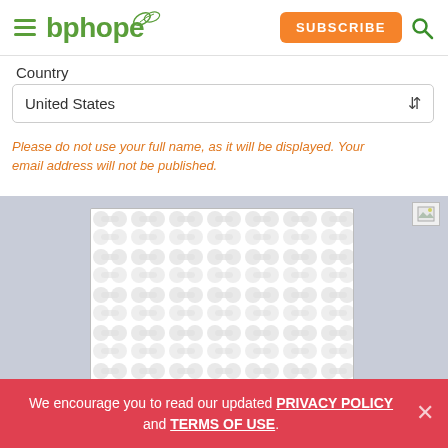bphope — navigation header with subscribe and search
Country
United States
Please do not use your full name, as it will be displayed. Your email address will not be published.
[Figure (other): CAPTCHA image placeholder with decorative circular pattern on gray-white background]
We encourage you to read our updated PRIVACY POLICY and TERMS OF USE.